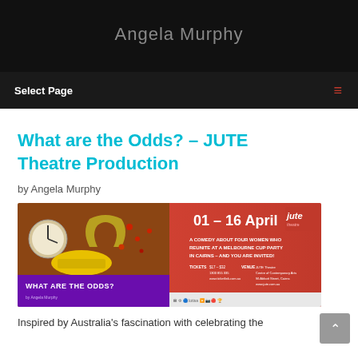Angela Murphy
Select Page
What are the Odds? – JUTE Theatre Production
by Angela Murphy
[Figure (photo): Promotional banner for JUTE Theatre production 'What are the Odds?' showing 01–16 April dates, a comedy about four women who reunite at a Melbourne Cup party in Cairns. Features yellow hard hat, horseshoe, clock imagery with red and orange background. Logos at bottom.]
Inspired by Australia's fascination with celebrating the